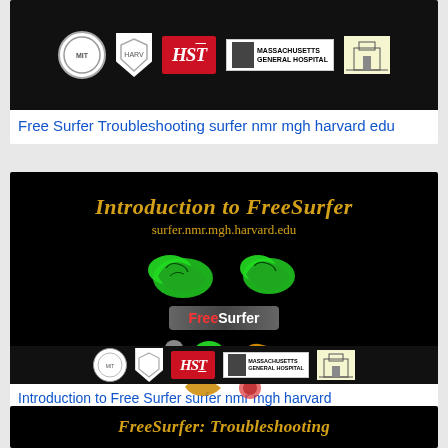[Figure (screenshot): Thumbnail image with institutional logos (MIT, Harvard, HST, Massachusetts General Hospital, building logo) on black background - top card]
Free Surfer Troubleshooting surfer nmr mgh harvard edu
[Figure (screenshot): Introduction to FreeSurfer slide with yellow italic title, surfer.nmr.mgh.harvard.edu URL, green brain images, FreeSurfer logo badge, colorful brain segmentation images, and institutional logos at bottom]
Introduction to Free Surfer surfer nmr mgh harvard
[Figure (screenshot): FreeSurfer: Troubleshooting slide title on black background - partially visible]